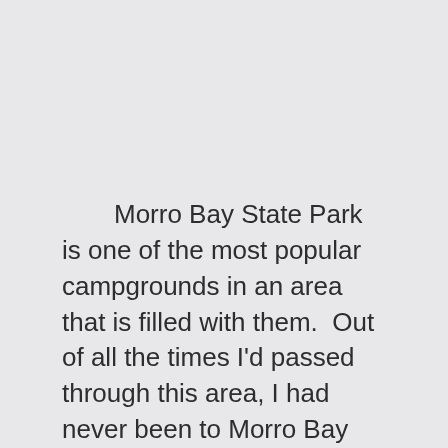Morro Bay State Park is one of the most popular campgrounds in an area that is filled with them.  Out of all the times I'd passed through this area, I had never been to Morro Bay